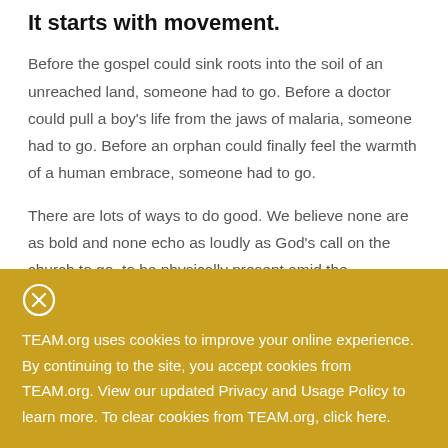It starts with movement.
Before the gospel could sink roots into the soil of an unreached land, someone had to go. Before a doctor could pull a boy’s life from the jaws of malaria, someone had to go. Before an orphan could finally feel the warmth of a human embrace, someone had to go.
There are lots of ways to do good. We believe none are as bold and none echo as loudly as God’s call on the church to go, to be physically present amid the heartbreak of our world
TEAM.org uses cookies to improve your online experience. By continuing to the site, you accept cookies from TEAM.org. View our updated Privacy and Usage Policy to learn more. To clear cookies from TEAM.org, click here.